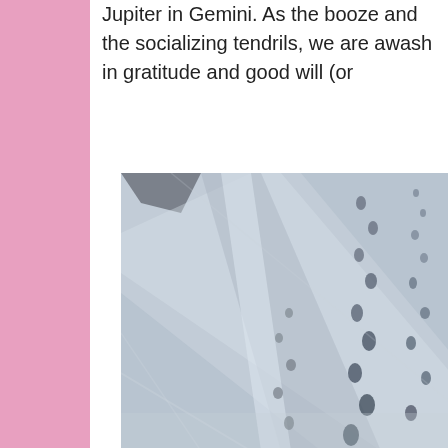Jupiter in Gemini. As the booze and the socializing tendrils, we are awash in gratitude and good will (or
[Figure (photo): Aerial or ground-level view of animal tracks and footprints in snow across a snowy landscape, showing trails of prints crossing a snow-covered field or road.]